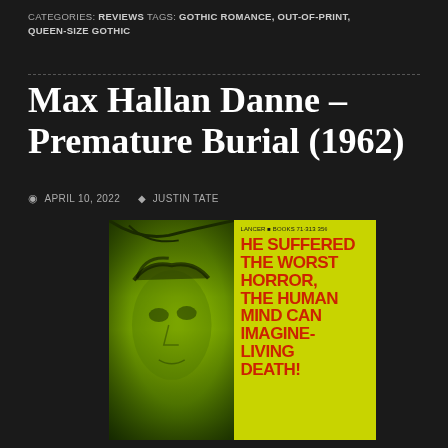CATEGORIES: REVIEWS   TAGS: GOTHIC ROMANCE, OUT-OF-PRINT, QUEEN-SIZE GOTHIC
Max Hallan Danne – Premature Burial (1962)
APRIL 10, 2022   JUSTIN TATE
[Figure (photo): Book cover of Premature Burial (1962) published by Lancer Books (71·313 35¢). Left half shows a man's face with green tinting. Right half on yellow-green background has red text reading: HE SUFFERED THE WORST HORROR, THE HUMAN MIND CAN IMAGINE- LIVING DEATH!]